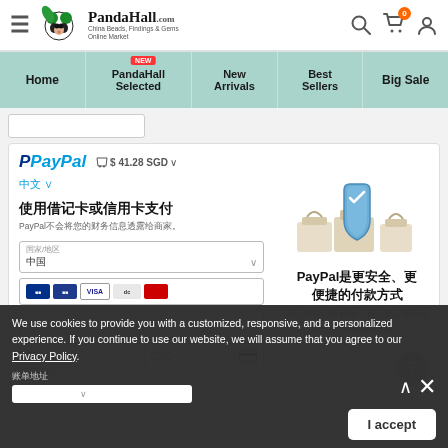[Figure (screenshot): PandaHall.com website header with logo, hamburger menu, search, cart (0), and user icons]
[Figure (screenshot): Navigation bar with Home, PandaHall Selected (NEW badge), New Arrivals, Best Sellers, Big Sale]
[Figure (screenshot): PayPal payment panel showing Chinese language interface with card payment form, shield graphic, and PayPal security promo text]
We use cookies to provide you with a customized, responsive, and a personalized experience. If you continue to use our website, we will assume that you agree to our Privacy Policy.